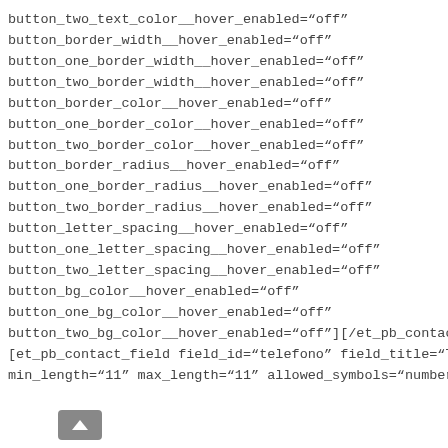button_two_text_color__hover_enabled="off"
button_border_width__hover_enabled="off"
button_one_border_width__hover_enabled="off"
button_two_border_width__hover_enabled="off"
button_border_color__hover_enabled="off"
button_one_border_color__hover_enabled="off"
button_two_border_color__hover_enabled="off"
button_border_radius__hover_enabled="off"
button_one_border_radius__hover_enabled="off"
button_two_border_radius__hover_enabled="off"
button_letter_spacing__hover_enabled="off"
button_one_letter_spacing__hover_enabled="off"
button_two_letter_spacing__hover_enabled="off"
button_bg_color__hover_enabled="off"
button_one_bg_color__hover_enabled="off"
button_two_bg_color__hover_enabled="off"][/et_pb_contact_field]
[et_pb_contact_field field_id="telefono" field_title="Teléfono"
min_length="11" max_length="11" allowed_symbols="numbers"